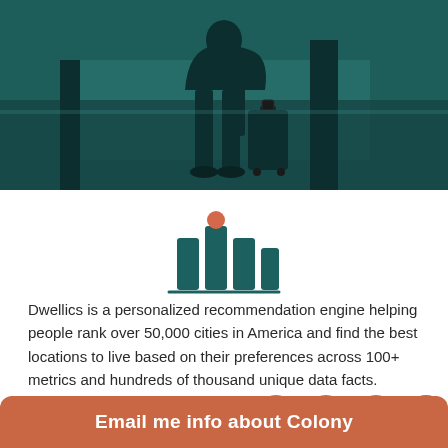[Figure (photo): Silhouette of a person standing with luggage, viewed from behind, in a dark teal-toned airport-like setting]
[Figure (logo): Dwellics logo: stylized bar-chart house icon in dark teal with an orange dot on top of the center bar]
Dwellics is a personalized recommendation engine helping people rank over 50,000 cities in America and find the best locations to live based on their preferences across 100+ metrics and hundreds of thousand unique data facts.
Stay Connected
Email me info about Colony